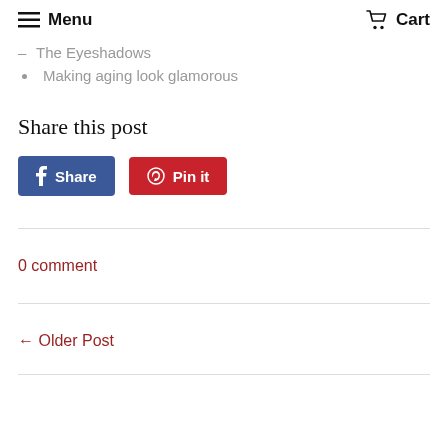Menu   Cart
The Eyeshadows
Making aging look glamorous
Share this post
Share   Pin it
0 comment
← Older Post